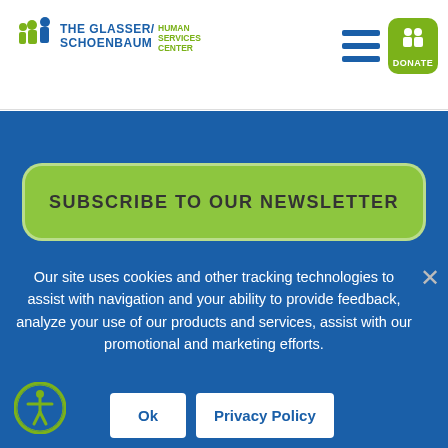[Figure (logo): The Glasser/Schoenbaum Human Services Center logo with green figures and blue/green text]
[Figure (infographic): Hamburger menu icon with 3 blue horizontal bars]
[Figure (logo): Green rounded DONATE button with white person icons]
SUBSCRIBE TO OUR NEWSLETTER
Our site uses cookies and other tracking technologies to assist with navigation and your ability to provide feedback, analyze your use of our products and services, assist with our promotional and marketing efforts.
Ok
Privacy Policy